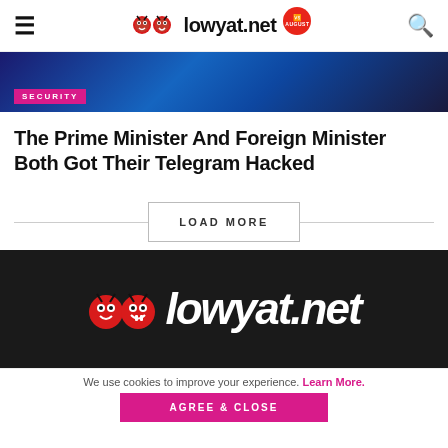lowyat.net
[Figure (screenshot): Dark blue background image with SECURITY badge in magenta]
The Prime Minister And Foreign Minister Both Got Their Telegram Hacked
LOAD MORE
[Figure (logo): lowyat.net logo on dark background with devil mascots]
We use cookies to improve your experience. Learn More.
AGREE & CLOSE